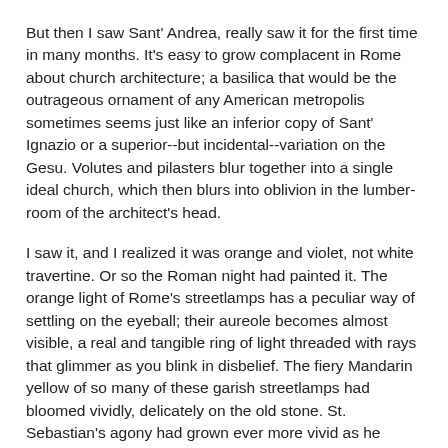But then I saw Sant' Andrea, really saw it for the first time in many months. It's easy to grow complacent in Rome about church architecture; a basilica that would be the outrageous ornament of any American metropolis sometimes seems just like an inferior copy of Sant' Ignazio or a superior--but incidental--variation on the Gesu. Volutes and pilasters blur together into a single ideal church, which then blurs into oblivion in the lumber-room of the architect's head.
I saw it, and I realized it was orange and violet, not white travertine. Or so the Roman night had painted it. The orange light of Rome's streetlamps has a peculiar way of settling on the eyeball; their aureole becomes almost visible, a real and tangible ring of light threaded with rays that glimmer as you blink in disbelief. The fiery Mandarin yellow of so many of these garish streetlamps had bloomed vividly, delicately on the old stone. St. Sebastian's agony had grown ever more vivid as he writhed in his aedicule, his muscles outlined in sharp purple shadows. Above, far above, angels flew with billowing wings on either side of a great ecclesiastical coat-of-arms suspended weightlessly in the pediment. Lit from